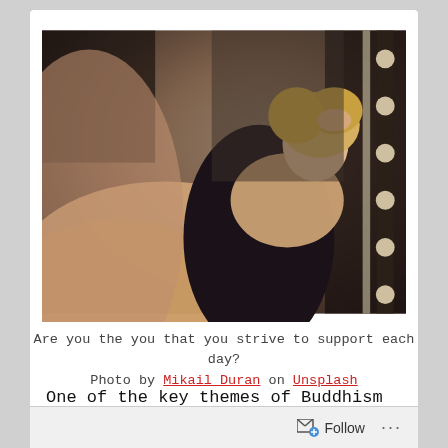[Figure (photo): Young woman with blonde hair wearing a black outfit, posing near a mirror with vanity lights in a dimly lit room, shot from a low angle]
Are you the you that you strive to support each day?
Photo by Mikail Duran on Unsplash
One of the key themes of Buddhism is the idea of emptiness.  In a sense, this idea is a tool which